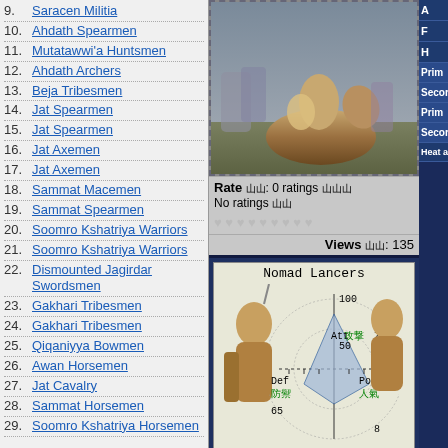10. Ahdath Spearmen
11. Mutatawwi'a Huntsmen
12. Ahdath Archers
13. Beja Tribesmen
14. Jat Spearmen
15. Jat Spearmen
16. Jat Axemen
17. Jat Axemen
18. Sammat Macemen
19. Sammat Spearmen
20. Soomro Kshatriya Warriors
21. Soomro Kshatriya Warriors
22. Dismounted Jagirdar Swordsmen
23. Gakhari Tribesmen
24. Gakhari Tribesmen
25. Qiqaniyya Bowmen
26. Awan Horsemen
27. Jat Cavalry
28. Sammat Horsemen
29. Soomro Kshatriya Horsemen
[Figure (screenshot): Screenshot of a mounted cavalry unit in a video game]
Rate: 0 ratings
No ratings
Views: 135
[Figure (infographic): Nomad Lancers unit card with radar chart showing Att 79, Def 65, Pop 8 stats]
A
F
H
Prim
Secor
Prim
Secor
Heat an